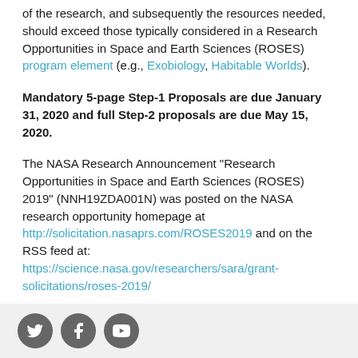of the research, and subsequently the resources needed, should exceed those typically considered in a Research Opportunities in Space and Earth Sciences (ROSES) program element (e.g., Exobiology, Habitable Worlds).
Mandatory 5-page Step-1 Proposals are due January 31, 2020 and full Step-2 proposals are due May 15, 2020.
The NASA Research Announcement “Research Opportunities in Space and Earth Sciences (ROSES) 2019” (NNH19ZDA001N) was posted on the NASA research opportunity homepage at http://solicitation.nasaprs.com/ROSES2019 and on the RSS feed at: https://science.nasa.gov/researchers/sara/grant-solicitations/roses-2019/
Questions concerning this program element may be directed to Mary Voytek who may be reached at Mary.A.Voytek@nasa.gov.
[Figure (other): Footer bar with social media icons: Twitter, Facebook, YouTube]